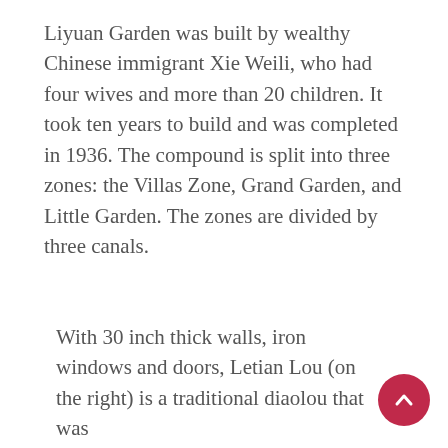Liyuan Garden was built by wealthy Chinese immigrant Xie Weili, who had four wives and more than 20 children. It took ten years to build and was completed in 1936. The compound is split into three zones: the Villas Zone, Grand Garden, and Little Garden. The zones are divided by three canals.
With 30 inch thick walls, iron windows and doors, Letian Lou (on the right) is a traditional diaolou that was